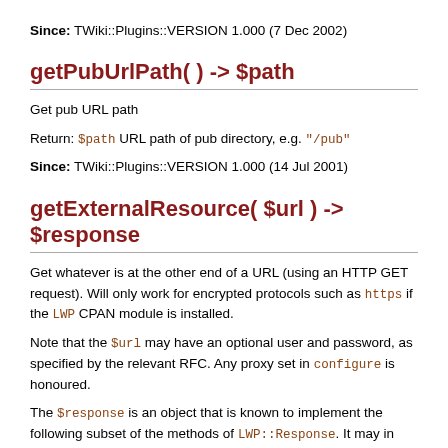Since: TWiki::Plugins::VERSION 1.000 (7 Dec 2002)
getPubUrlPath( ) -> $path
Get pub URL path
Return: $path URL path of pub directory, e.g. "/pub"
Since: TWiki::Plugins::VERSION 1.000 (14 Jul 2001)
getExternalResource( $url ) -> $response
Get whatever is at the other end of a URL (using an HTTP GET request). Will only work for encrypted protocols such as https if the LWP CPAN module is installed.
Note that the $url may have an optional user and password, as specified by the relevant RFC. Any proxy set in configure is honoured.
The $response is an object that is known to implement the following subset of the methods of LWP::Response. It may in